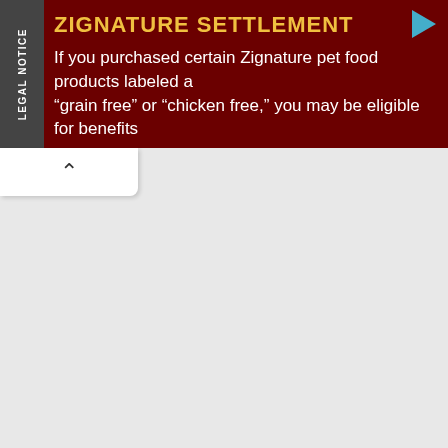ZIGNATURE SETTLEMENT
If you purchased certain Zignature pet food products labeled as "grain free" or "chicken free," you may be eligible for benefits